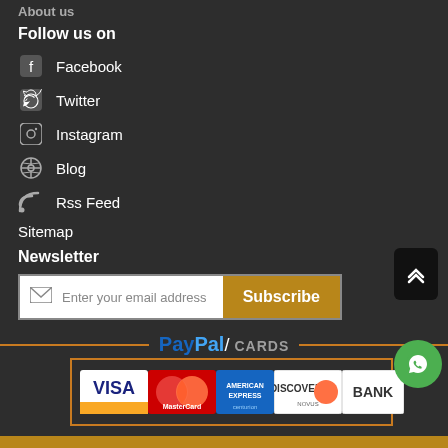About us
Follow us on
Facebook
Twitter
Instagram
Blog
Rss Feed
Sitemap
Newsletter
Enter your email address  Subscribe
[Figure (logo): PayPal / CARDS payment logos including Visa, MasterCard, American Express, Discover, and Bank]